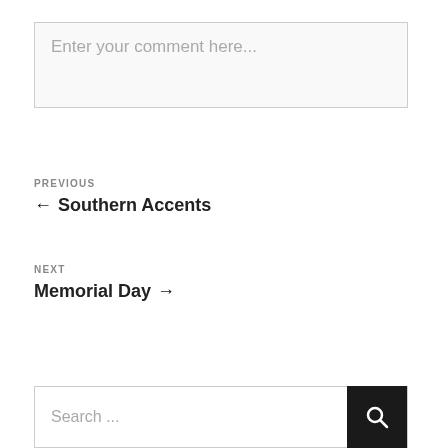Enter your comment here...
PREVIOUS ← Southern Accents
NEXT Memorial Day →
Search ...